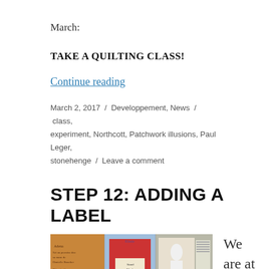March:
TAKE A QUILTING CLASS!
Continue reading
March 2, 2017 / Developpement, News / class, experiment, Northcott, Patchwork illusions, Paul Leger, stonehenge / Leave a comment
STEP 12: ADDING A LABEL
[Figure (photo): Photo showing several quilt label squares including handwritten labels, a photo label, and a printed text label arranged in a quilt pattern.]
We are at the last